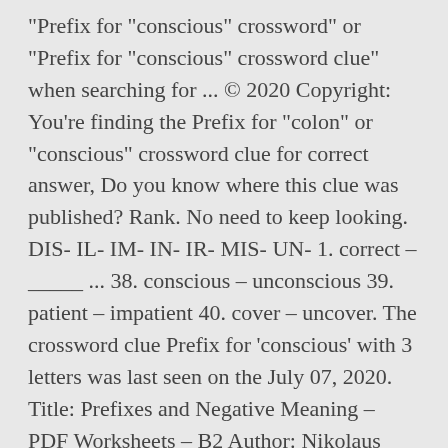"Prefix for "conscious" crossword" or "Prefix for "conscious" crossword clue" when searching for ... © 2020 Copyright: You're finding the Prefix for "colon" or "conscious" crossword clue for correct answer, Do you know where this clue was published? Rank. No need to keep looking. DIS- IL- IM- IN- IR- MIS- UN- 1. correct – _____ ... 38. conscious – unconscious 39. patient – impatient 40. cover – uncover. The crossword clue Prefix for 'conscious' with 3 letters was last seen on the July 07, 2020. Title: Prefixes and Negative Meaning – PDF Worksheets – B2 Author: Nikolaus ROSMANITZ Prefixes are one of the two predominant kinds of affixes—the other kind is suffixes, which come at the end of a